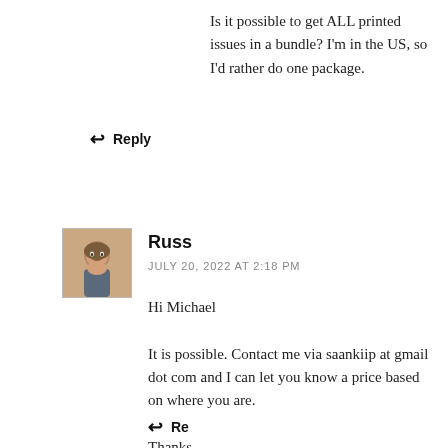Is it possible to get ALL printed issues in a bundle? I'm in the US, so I'd rather do one package.
↩ Reply
[Figure (photo): Small avatar photo of a man named Russ]
Russ
JULY 20, 2022 AT 2:18 PM
Hi Michael

It is possible. Contact me via saankiip at gmail dot com and I can let you know a price based on where you are.

Thanks,
Russ
↩ Reply